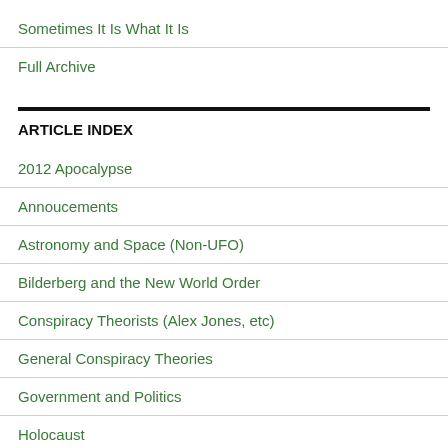Sometimes It Is What It Is
Full Archive
ARTICLE INDEX
2012 Apocalypse
Annoucements
Astronomy and Space (Non-UFO)
Bilderberg and the New World Order
Conspiracy Theorists (Alex Jones, etc)
General Conspiracy Theories
Government and Politics
Holocaust